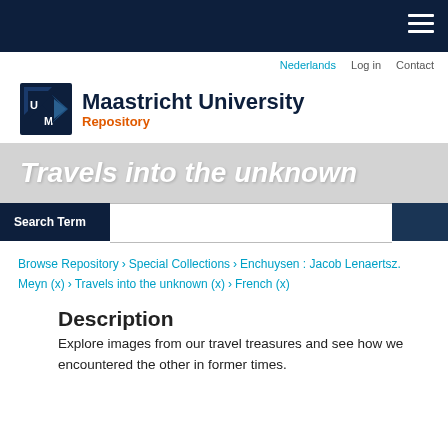Maastricht University Repository
Travels into the unknown
Search Term
Browse Repository › Special Collections › Enchuysen : Jacob Lenaertsz. Meyn (x) › Travels into the unknown (x) › French (x)
Description
Explore images from our travel treasures and see how we encountered the other in former times.